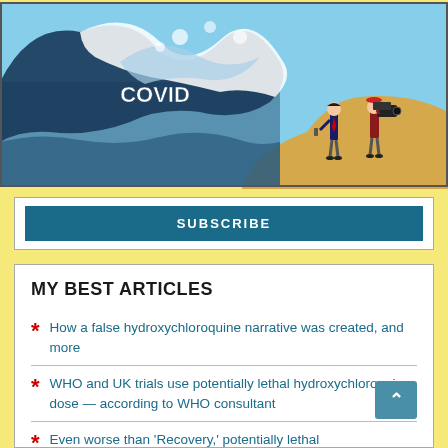[Figure (illustration): Editorial cartoon showing a large wave labeled 'COVID' crashing toward a shore where a news reporter and camera operator are standing on a sandy hill filming the wave.]
SUBSCRIBE
MY BEST ARTICLES
How a false hydroxychloroquine narrative was created, and more
WHO and UK trials use potentially lethal hydroxychloroquine dose — according to WHO consultant
Even worse than 'Recovery,' potentially lethal